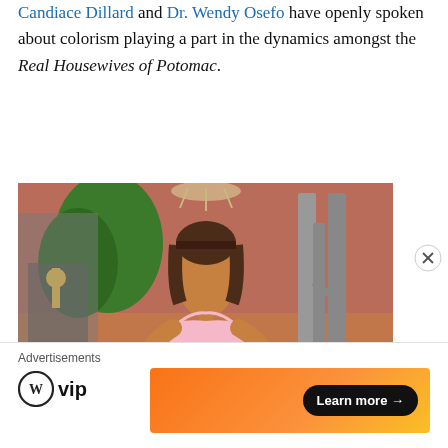Candiace Dillard and Dr. Wendy Osefo have openly spoken about colorism playing a part in the dynamics amongst the Real Housewives of Potomac.
[Figure (photo): A woman in a pink strapless dress with rhinestone details standing between ornate metal gates with floral and greenery backdrop, colorful pink and red floral background.]
Advertisements
[Figure (logo): WordPress VIP logo — circle W icon with 'vip' text]
[Figure (screenshot): Orange gradient advertisement banner with a black 'Learn more →' button]